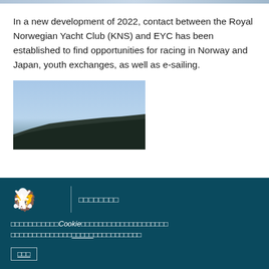In a new development of 2022, contact between the Royal Norwegian Yacht Club (KNS) and EYC has been established to find opportunities for racing in Norway and Japan, youth exchanges, as well as e-sailing.
[Figure (photo): Partial photo showing a blue sky and dark coastal hillside silhouette]
Norwegian government website footer with lion crest logo, organization name in Japanese characters, cookie notice in Japanese, and a link button